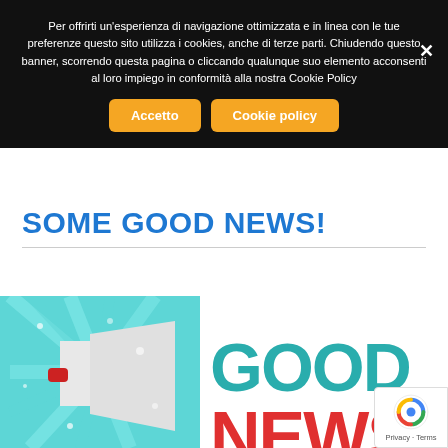Per offrirti un'esperienza di navigazione ottimizzata e in linea con le tue preferenze questo sito utilizza i cookies, anche di terze parti. Chiudendo questo banner, scorrendo questa pagina o cliccando qualunque suo elemento acconsenti al loro impiego in conformità alla nostra Cookie Policy
Accetto | Cookie policy
SOME GOOD NEWS!
[Figure (illustration): Partial view of a 'Good News' promotional illustration with a megaphone on a teal/cyan starburst background on the left, and large teal 'GOOD' and red 'NEWS' text on the right side, partially cropped.]